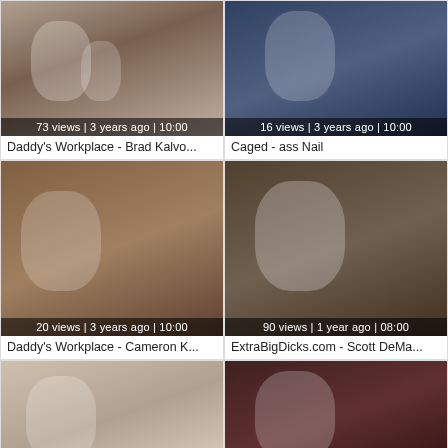[Figure (screenshot): Video thumbnail grid showing 6 video thumbnails with view counts, upload dates, durations, and titles]
73 views | 3 years ago | 10:00
Daddy's Workplace - Brad Kalvo...
16 views | 3 years ago | 10:00
Caged - ass Nail
20 views | 3 years ago | 10:00
Daddy's Workplace - Cameron K...
90 views | 1 year ago | 08:00
ExtraBigDicks.com - Scott DeMa...